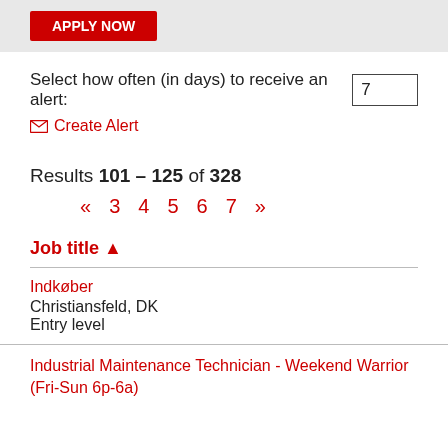[Figure (screenshot): Top banner with a red button (partially visible)]
Select how often (in days) to receive an alert: 7
✉ Create Alert
Results 101 – 125 of 328
« 3 4 5 6 7 »
Job title ▲
Indkøber
Christiansfeld, DK
Entry level
Industrial Maintenance Technician - Weekend Warrior (Fri-Sun 6p-6a)